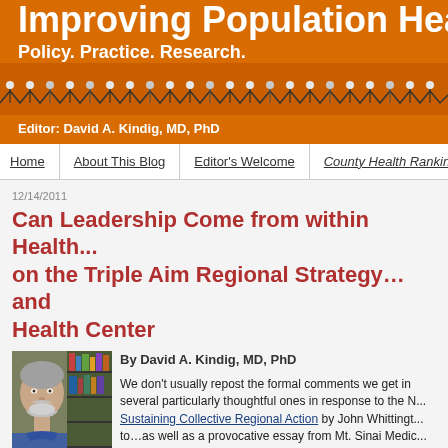Improving Population Hea...
Policy. Practice. Research.
Editor: David A. Kindig, MD, PhD
Home | About This Blog | Editor's Welcome | County Health Rankings & Roadma...
12/14/2011
Can Leadership Come from within Health... on the Triple Aim Regional Strategy…and Health Center
[Figure (photo): Headshot photo of David A. Kindig, MD, PhD — an older man with gray hair and beard wearing a blue sweater, with bookshelves in the background.]
By David A. Kindig, MD, PhD

We don't usually repost the formal comments we get in several particularly thoughtful ones in response to the N... Sustaining Collective Regional Action by John Whittingt... to…as well as a provocative essay from Mt. Sinai Medic...

From Pamela Russo: Thank you for the brief history and...